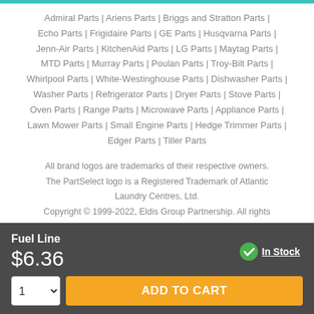Admiral Parts | Ariens Parts | Briggs and Stratton Parts | Echo Parts | Frigidaire Parts | GE Parts | Husqvarna Parts | Jenn-Air Parts | KitchenAid Parts | LG Parts | Maytag Parts | MTD Parts | Murray Parts | Poulan Parts | Troy-Bilt Parts | Whirlpool Parts | White-Westinghouse Parts | Dishwasher Parts | Washer Parts | Refrigerator Parts | Dryer Parts | Stove Parts | Oven Parts | Range Parts | Microwave Parts | Appliance Parts | Lawn Mower Parts | Small Engine Parts | Hedge Trimmer Parts | Edger Parts | Tiller Parts
All brand logos are trademarks of their respective owners. The PartSelect logo is a Registered Trademark of Atlantic Laundry Centres, Ltd. Copyright © 1999-2022, Eldis Group Partnership. All rights reserved.
Fuel Line
$6.36
In Stock
ADD TO CART